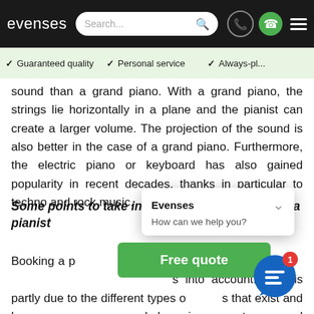evenses | Search... | navigation icons
✓ Guaranteed quality  ✓ Personal service  ✓ Always-pl...
sound than a grand piano. With a grand piano, the strings lie horizontally in a plane and the pianist can create a larger volume. The projection of the sound is also better in the case of a grand piano. Furthermore, the electric piano or keyboard has also gained popularity in recent decades, thanks in particular to techno and rock music.
Some points to take into account when booking a pianist
Booking a pianist is important to take important factors during the booking process into account. That is partly due to the different types of pianos that exist and because it is a relatively large investment compared to many instruments. To help you get started in your search for the perfect pianist for your party
[Figure (screenshot): Chat popup overlay showing 'Evenses' title, chevron, and 'How can we help you?' text]
[Figure (infographic): Green 'Free quote' button and blue chat bubble icon with red notification badge showing '1']